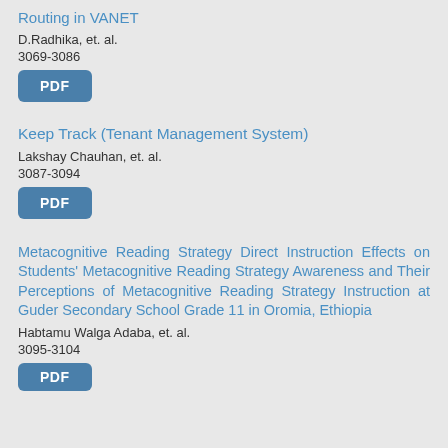Routing in VANET
D.Radhika, et. al.
3069-3086
[Figure (other): PDF button link]
Keep Track (Tenant Management System)
Lakshay Chauhan, et. al.
3087-3094
[Figure (other): PDF button link]
Metacognitive Reading Strategy Direct Instruction Effects on Students' Metacognitive Reading Strategy Awareness and Their Perceptions of Metacognitive Reading Strategy Instruction at Guder Secondary School Grade 11 in Oromia, Ethiopia
Habtamu Walga Adaba, et. al.
3095-3104
[Figure (other): PDF button link (partially visible)]